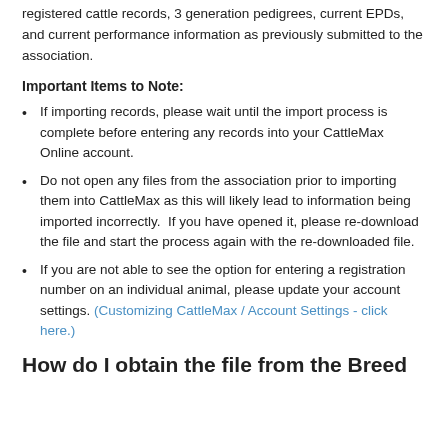registered cattle records, 3 generation pedigrees, current EPDs, and current performance information as previously submitted to the association.
Important Items to Note:
If importing records, please wait until the import process is complete before entering any records into your CattleMax Online account.
Do not open any files from the association prior to importing them into CattleMax as this will likely lead to information being imported incorrectly. If you have opened it, please re-download the file and start the process again with the re-downloaded file.
If you are not able to see the option for entering a registration number on an individual animal, please update your account settings. (Customizing CattleMax / Account Settings - click here.)
How do I obtain the file from the Breed